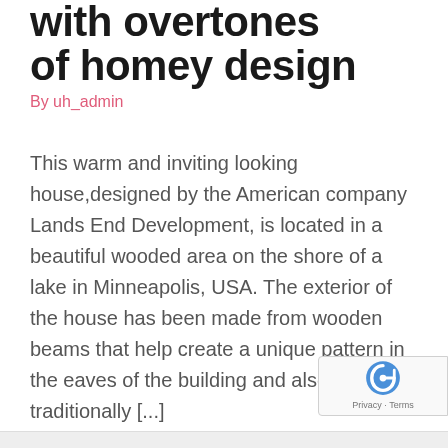with overtones of homey design
By uh_admin
This warm and inviting looking house,designed by the American company Lands End Development, is located in a beautiful wooded area on the shore of a lake in Minneapolis, USA. The exterior of the house has been made from wooden beams that help create a unique pattern in the eaves of the building and also has traditionally [...]